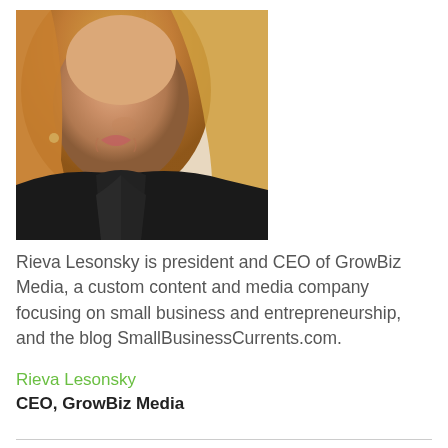[Figure (photo): Headshot photo of a woman with blonde hair wearing a black jacket, smiling, photographed from the shoulders up against a light background on the right side.]
Rieva Lesonsky is president and CEO of GrowBiz Media, a custom content and media company focusing on small business and entrepreneurship, and the blog SmallBusinessCurrents.com.
Rieva Lesonsky
CEO, GrowBiz Media